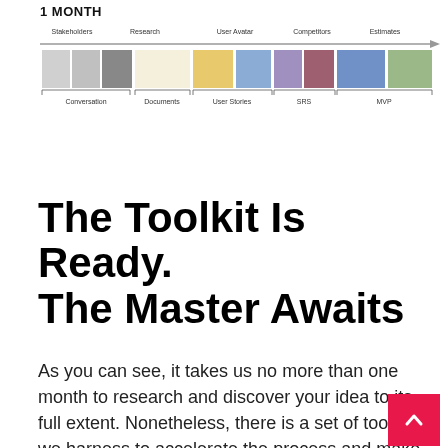1 MONTH
[Figure (infographic): Timeline diagram spanning 1 month showing phases: Stakeholders, Research, User Avatar, Competitors, Estimates across colored blocks, with labels below: Conversation, Documents, User Stories, SRS, MVP]
The Toolkit Is Ready. The Master Awaits
As you can see, it takes us no more than one month to research and discover your idea to its full extent. Nonetheless, there is a set of tools that we harness to accelerate the process and make its efficiency skyrocket. This is a basic list of methods